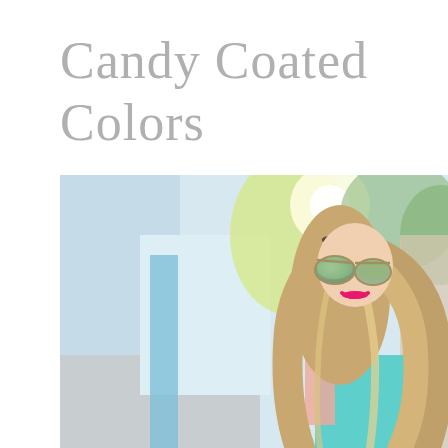Candy Coated Colors
[Figure (photo): A blonde woman wearing mirrored aviator sunglasses and a colorful teal/mint outfit, smiling and looking down, with a blurred colorful street background featuring blues, yellows and greens.]